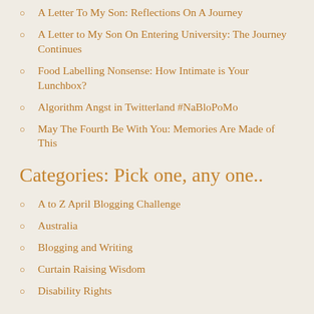A Letter To My Son: Reflections On A Journey
A Letter to My Son On Entering University: The Journey Continues
Food Labelling Nonsense: How Intimate is Your Lunchbox?
Algorithm Angst in Twitterland #NaBloPoMo
May The Fourth Be With You: Memories Are Made of This
Categories: Pick one, any one..
A to Z April Blogging Challenge
Australia
Blogging and Writing
Curtain Raising Wisdom
Disability Rights